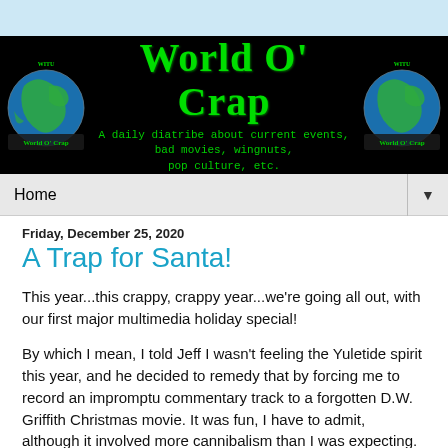[Figure (logo): World O' Crap blog banner with black background, green decorative title text 'World O' Crap', subtitle 'A daily diatribe about current events, bad movies, wingnuts, pop culture, etc.' in green monospace, and globe images on each side]
Home
Friday, December 25, 2020
A Trap for Santa!
This year...this crappy, crappy year...we're going all out, with our first major multimedia holiday special!
By which I mean, I told Jeff I wasn't feeling the Yuletide spirit this year, and he decided to remedy that by forcing me to record an impromptu commentary track to a forgotten D.W. Griffith Christmas movie. It was fun, I have to admit, although it involved more cannibalism than I was expecting.